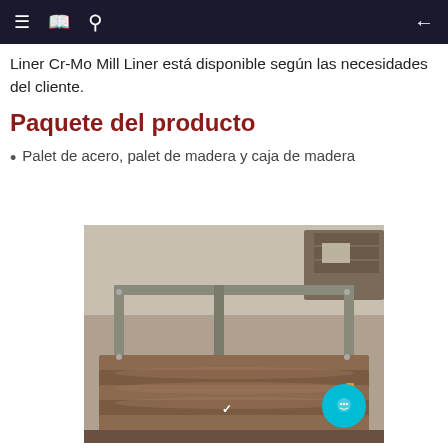≡  🔖  🔍  ←
Liner Cr-Mo Mill Liner está disponible según las necesidades del cliente.
Paquete del producto
Palet de acero, palet de madera y caja de madera
[Figure (photo): Stacked Cr-Mo mill liner plates on a steel pallet in an industrial warehouse setting. Heavy dark brownish-red cast metal liners are stacked with a steel frame around them. Background shows more liners and industrial storage area.]